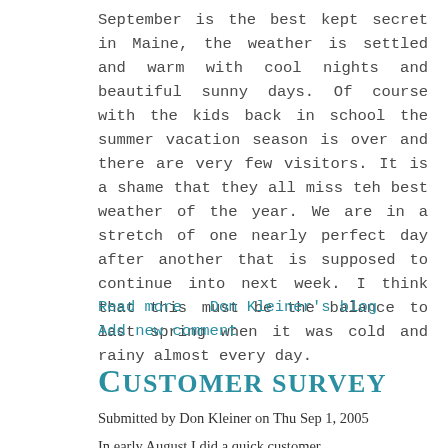September is the best kept secret in Maine, the weather is settled and warm with cool nights and beautiful sunny days. Of course with the kids back in school the summer vacation season is over and there are very few visitors. It is a shame that they all miss teh best weather of the year. We are in a stretch of one nearly perfect day after another that is supposed to continue into next week. I think that this must be the balance to last spring when it was cold and rainy almost every day.
Read more   Don Kleiner's blog
Add new comment
Customer survey
Submitted by Don Kleiner on Thu Sep 1, 2005
In early August I did a quick customer